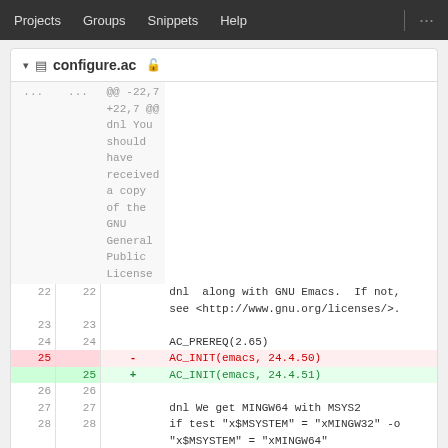Projects  Groups  Snippets  Help  ...
configure.ac
[Figure (screenshot): Git diff view of configure.ac showing line 25 changed from AC_INIT(emacs, 24.4.50) to AC_INIT(emacs, 24.4.51), with surrounding context lines 22-28]
doc/emacs/emacsver.texi
@c It would be nicer to generate